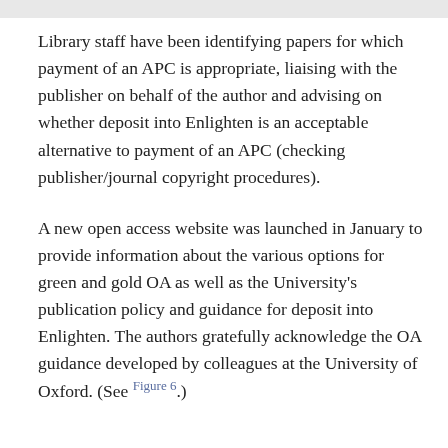Library staff have been identifying papers for which payment of an APC is appropriate, liaising with the publisher on behalf of the author and advising on whether deposit into Enlighten is an acceptable alternative to payment of an APC (checking publisher/journal copyright procedures).
A new open access website was launched in January to provide information about the various options for green and gold OA as well as the University's publication policy and guidance for deposit into Enlighten. The authors gratefully acknowledge the OA guidance developed by colleagues at the University of Oxford. (See Figure 6.)